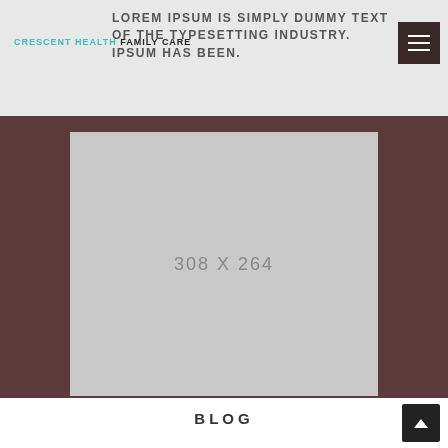CRESCENT HEALTH FAMILY CARE
LOREM IPSUM IS SIMPLY DUMMY TEXT OF THE TYPESETTING INDUSTRY. IPSUM HAS BEEN.
[Figure (photo): Placeholder image 308 x 264]
BLOG